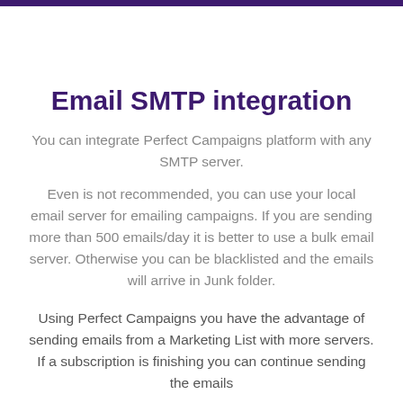Email SMTP integration
You can integrate Perfect Campaigns platform with any SMTP server.
Even is not recommended, you can use your local email server for emailing campaigns. If you are sending more than 500 emails/day it is better to use a bulk email server. Otherwise you can be blacklisted and the emails will arrive in Junk folder.
Using Perfect Campaigns you have the advantage of sending emails from a Marketing List with more servers. If a subscription is finishing you can continue sending the emails